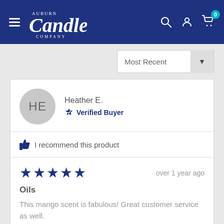Auburn Candle Company — navigation bar with hamburger menu, logo, search, account, and cart icons
Most Recent
HE
Heather E.
Verified Buyer
I recommend this product
★★★★★  over 1 year ago
Oils
This mango scent is fabulous! Great customer service as well.